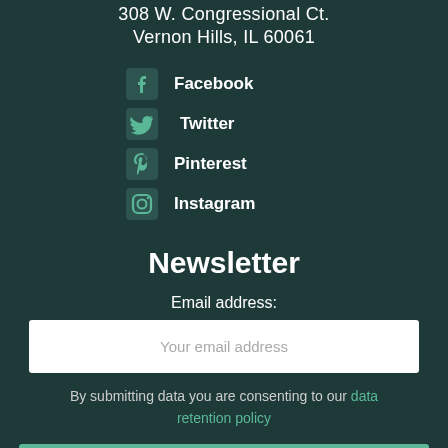308 W. Congressional Ct.
Vernon Hills, IL 60061
Facebook
Twitter
Pinterest
Instagram
Newsletter
Email address:
Your email address
By submitting data you are consenting to our data retention policy
Sign up